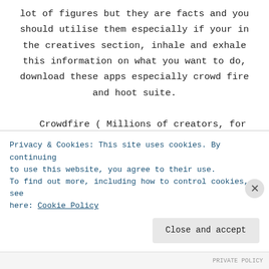lot of figures but they are facts and you should utilise them especially if your in the creatives section, inhale and exhale this information on what you want to do, download these apps especially crowd fire and hoot suite.

Crowdfire ( Millions of creators, for example, Youtubers, bloggers, artists, freelancers etc can grow their audience through this app, it's all about marketing
Privacy & Cookies: This site uses cookies. By continuing to use this website, you agree to their use. To find out more, including how to control cookies, see here: Cookie Policy
Close and accept
PRIVATE POLICY